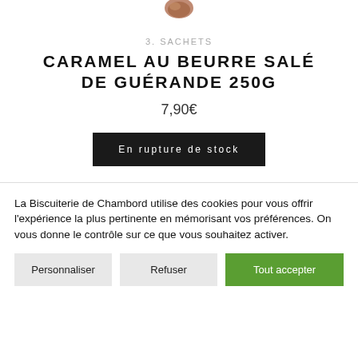[Figure (photo): Partial product photo showing chocolate/caramel items at the top of the page, cropped]
3. SACHETS
CARAMEL AU BEURRE SALÉ DE GUÉRANDE 250G
7,90€
En rupture de stock
La Biscuiterie de Chambord utilise des cookies pour vous offrir l'expérience la plus pertinente en mémorisant vos préférences. On vous donne le contrôle sur ce que vous souhaitez activer.
Personnaliser
Refuser
Tout accepter